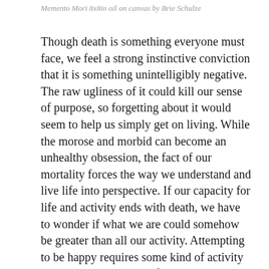Memento Mori 8x8in oil on canvas by Brie Schulze
Though death is something everyone must face, we feel a strong instinctive conviction that it is something unintelligibly negative. The raw ugliness of it could kill our sense of purpose, so forgetting about it would seem to help us simply get on living. While the morose and morbid can become an unhealthy obsession, the fact of our mortality forces the way we understand and live life into perspective. If our capacity for life and activity ends with death, we have to wonder if what we are could somehow be greater than all our activity. Attempting to be happy requires some kind of activity – indeed happiness itself must be the kind of activity which makes existing meaningful and good. If the activity of happiness itself becomes impossible at death, our act of existing would contain an internal contradiction. So if we reject skepticism, and hope to find the happiness that makes sense of our existence, we must also be certain this